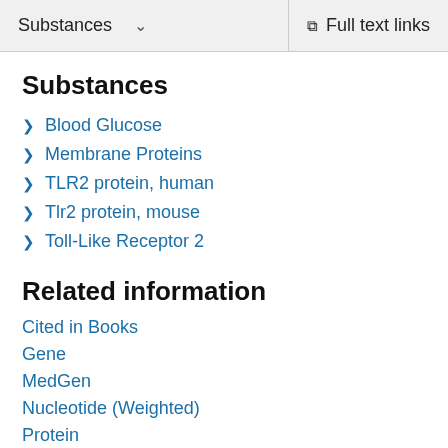Substances   ∨   Full text links
Substances
Blood Glucose
Membrane Proteins
TLR2 protein, human
Tlr2 protein, mouse
Toll-Like Receptor 2
Related information
Cited in Books
Gene
MedGen
Nucleotide (Weighted)
Protein
Protein (RefSeq)